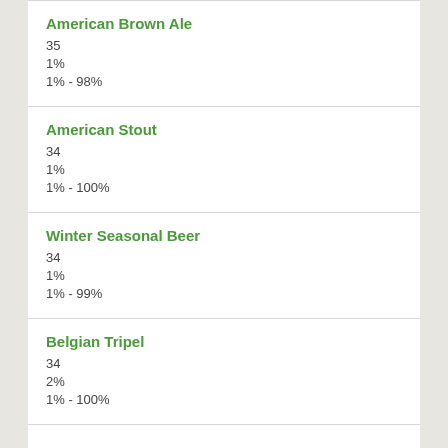American Brown Ale
35
1%
1% - 98%
American Stout
34
1%
1% - 100%
Winter Seasonal Beer
34
1%
1% - 99%
Belgian Tripel
34
2%
1% - 100%